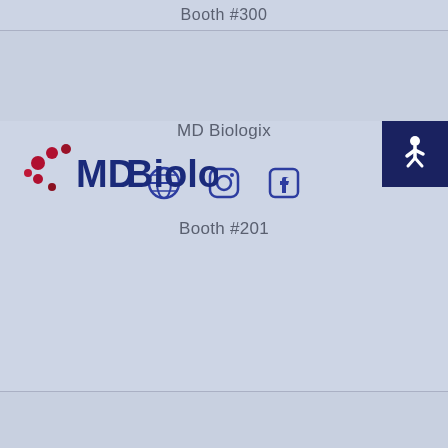Booth #300
[Figure (logo): MD Biologix logo with red and blue dots and text]
MD Biologix
[Figure (infographic): Social media icons: globe, Instagram, Facebook]
Booth #201
[Figure (logo): Merz Aesthetics logo in gray text]
Merz Aesthetics
[Figure (infographic): Social media icons: globe, Instagram, Facebook]
Booth #607